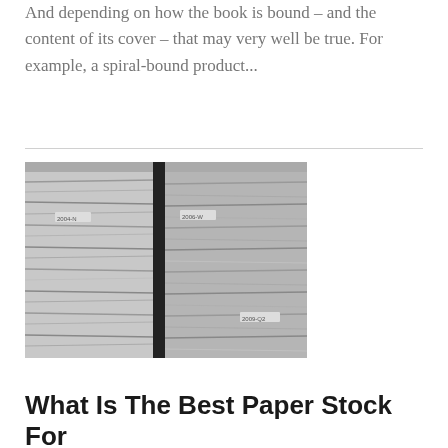And depending on how the book is bound – and the content of its cover – that may very well be true. For example, a spiral-bound product...
[Figure (photo): Black and white photograph of large stacks of papers and documents piled high in what appears to be a filing or storage area]
What Is The Best Paper Stock For